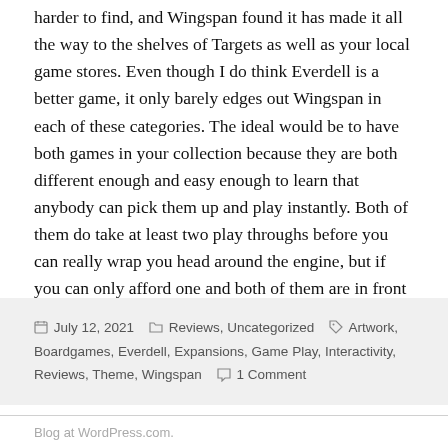harder to find, and Wingspan found it has made it all the way to the shelves of Targets as well as your local game stores. Even though I do think Everdell is a better game, it only barely edges out Wingspan in each of these categories. The ideal would be to have both games in your collection because they are both different enough and easy enough to learn that anybody can pick them up and play instantly. Both of them do take at least two play throughs before you can really wrap you head around the engine, but if you can only afford one and both of them are in front of you, I would go with Everdell.
July 12, 2021   Reviews, Uncategorized   Artwork, Boardgames, Everdell, Expansions, Game Play, Interactivity, Reviews, Theme, Wingspan   1 Comment
Blog at WordPress.com.